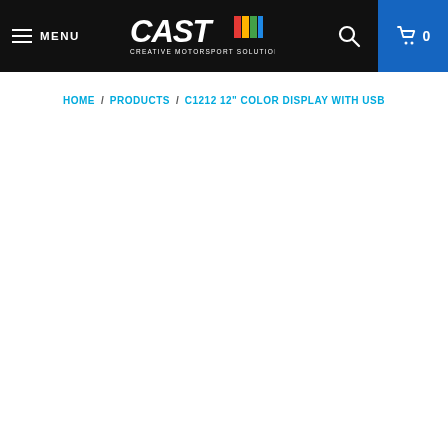MENU | CAST Creative Motorsport Solutions | Search | Cart 0
HOME / PRODUCTS / C1212 12" COLOR DISPLAY WITH USB